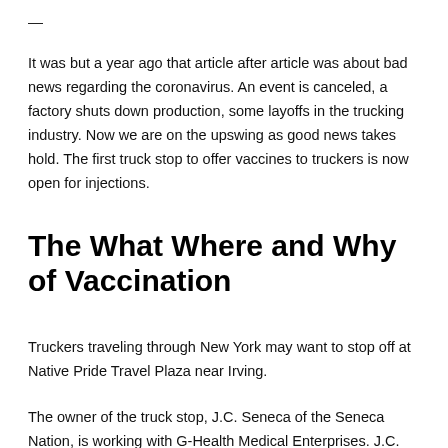—
It was but a year ago that article after article was about bad news regarding the coronavirus. An event is canceled, a factory shuts down production, some layoffs in the trucking industry. Now we are on the upswing as good news takes hold. The first truck stop to offer vaccines to truckers is now open for injections.
The What Where and Why of Vaccination
Truckers traveling through New York may want to stop off at Native Pride Travel Plaza near Irving.
The owner of the truck stop, J.C. Seneca of the Seneca Nation, is working with G-Health Medical Enterprises. J.C.